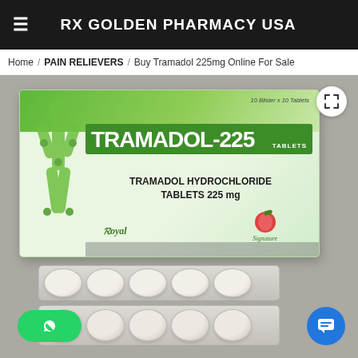RX GOLDEN PHARMACY USA
Home / PAIN RELIEVERS / Buy Tramadol 225mg Online For Sale
[Figure (photo): Product photo of Tramadol-225 Tramadol Hydrochloride Tablets 225mg box by Royal with Signature apple logo, alongside two blister packs of white/pink tablets, on a grey background. WhatsApp button bottom-left, chat button bottom-right, expand button top-right.]